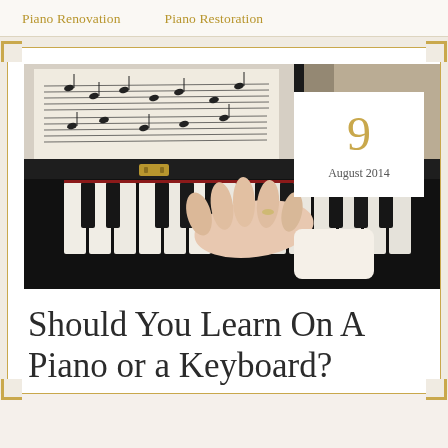Piano Renovation    Piano Restoration
[Figure (photo): Close-up photo of hands playing piano keys with sheet music visible on the music stand above, overlaid with a white date badge showing '9 August 2014']
Should You Learn On A Piano or a Keyboard?